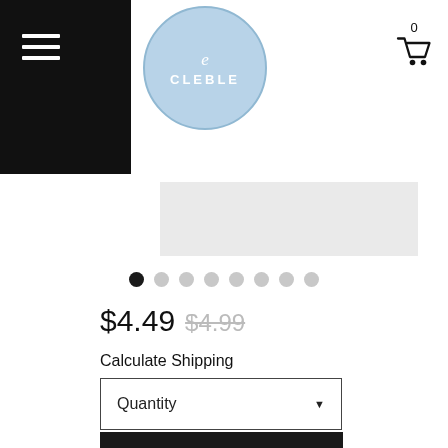[Figure (logo): Cleble brand logo in a light blue circle with cursive e and CLEBLE text]
[Figure (screenshot): Product image area showing a light gray placeholder image]
[Figure (other): Image carousel navigation dots, first dot active/black, remaining 7 dots gray]
$4.49 $4.99
Calculate Shipping
Quantity
ADD TO CART
ASK A QUESTION